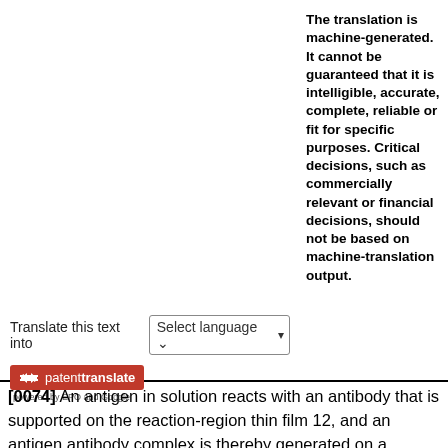[Figure (logo): PatentTranslate button with 'Select language' dropdown and 'patenttranslate powered by EPO and Google' logo badge]
The translation is machine-generated. It cannot be guaranteed that it is intelligible, accurate, complete, reliable or fit for specific purposes. Critical decisions, such as commercially relevant or financial decisions, should not be based on machine-translation output.
[0074] An antigen in solution reacts with an antibody that is supported on the reaction-region thin film 12, and an antigen antibody complex is thereby generated on a specified region of the reaction-region thin film 12.